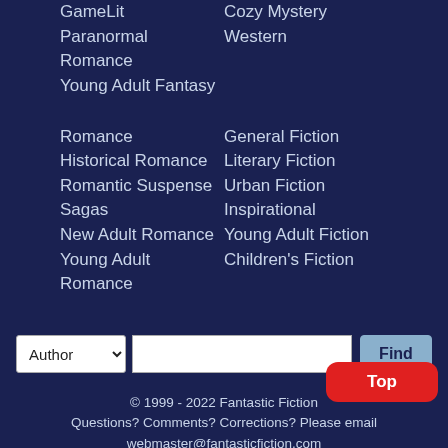GameLit
Paranormal Romance
Young Adult Fantasy
Cozy Mystery
Western
Romance
Historical Romance
Romantic Suspense
Sagas
New Adult Romance
Young Adult Romance
General Fiction
Literary Fiction
Urban Fiction
Inspirational
Young Adult Fiction
Children's Fiction
© 1999 - 2022 Fantastic Fiction
Questions? Comments? Corrections? Please email
webmaster@fantasticfiction.com
About Fantastic Fiction · Information for Authors